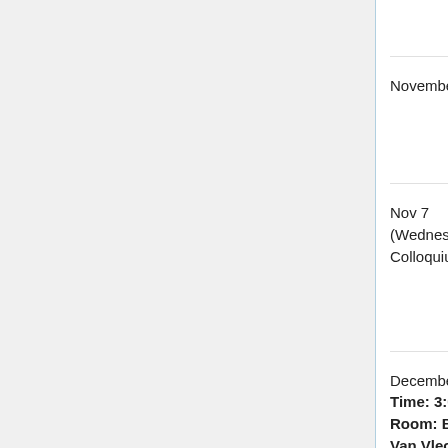| Date | Speaker | Title |
| --- | --- | --- |
|  |  | properties |
| November 5, | Albert Ai (UC Berkeley) | Low Reg Solution Gravity W Waves |
| Nov 7 (Wednesday), Colloquium | Luca Spolaor (MIT) | (Log)-Eiperim Inequalit the Reg of Variat Problem |
| December 3, Time: 3:00, Room: B223 Van Vleck | Trevor Leslie (UW) | Flocking Models w Singula Interactic Kernels |
|  |  | Sufficier |